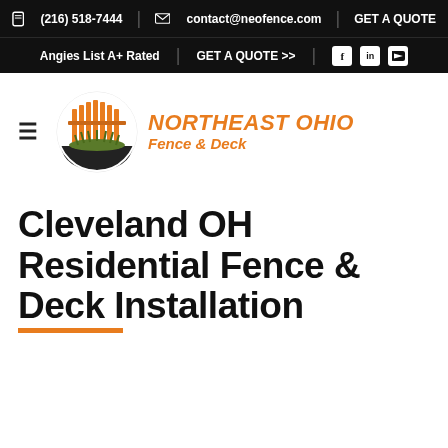(216) 518-7444 | contact@neofence.com | GET A QUOTE
Angies List A+ Rated | GET A QUOTE >> | f in youtube
[Figure (logo): Northeast Ohio Fence & Deck circular logo with fence and grass illustration, orange and dark color scheme]
Cleveland OH Residential Fence & Deck Installation